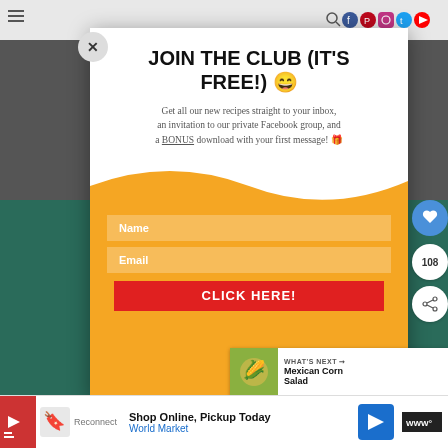Navigation bar with hamburger menu and social icons
JOIN THE CLUB (IT'S FREE!) 😄
Get all our new recipes straight to your inbox, an invitation to our private Facebook group, and a BONUS download with your first message! 🎁
Name
Email
CLICK HERE!
108
WHAT'S NEXT → Mexican Corn Salad
Shop Online, Pickup Today  World Market